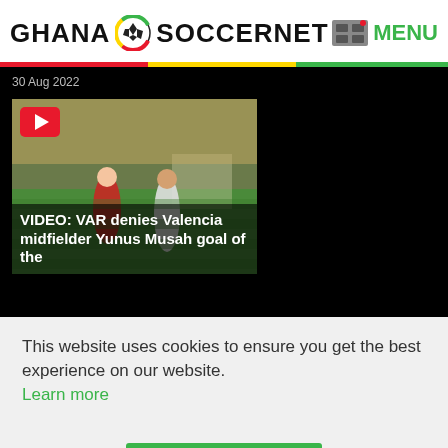GHANA SOCCERNET MENU
30 Aug 2022
[Figure (screenshot): Video thumbnail of a football match between Atletico Madrid and Valencia, with a YouTube play button in the top-left corner]
VIDEO: VAR denies Valencia midfielder Yunus Musah goal of the
This website uses cookies to ensure you get the best experience on our website.
Learn more
Got it!